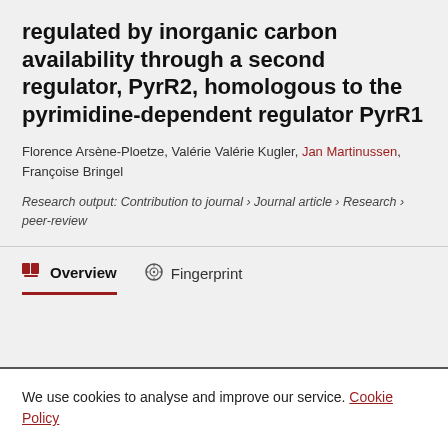regulated by inorganic carbon availability through a second regulator, PyrR2, homologous to the pyrimidine-dependent regulator PyrR1
Florence Arsène-Ploetze, Valérie Valérie Kugler, Jan Martinussen, Françoise Bringel
Research output: Contribution to journal › Journal article › Research › peer-review
Overview   Fingerprint
We use cookies to analyse and improve our service. Cookie Policy